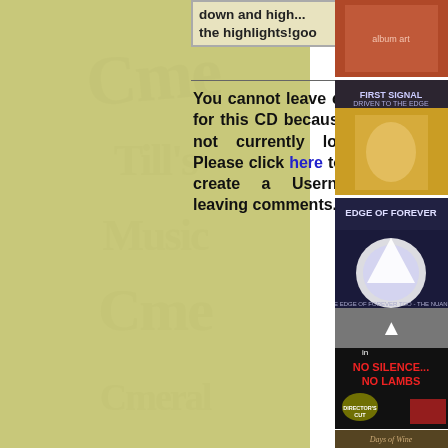down and high... the highlights!good
You cannot leave comments for this CD because you are not currently logged in. Please click here to log in or create a Username for leaving comments.
[Figure (photo): Album cover 1 - partial view at top right]
[Figure (photo): Album cover - First Signal: Driven to the Edge]
[Figure (photo): Album cover - Edge of Forever]
[Figure (photo): Album cover - Dominoe: No Silence No Lambs, Director's Cut]
[Figure (photo): Album cover - Days of Wine (partial)]